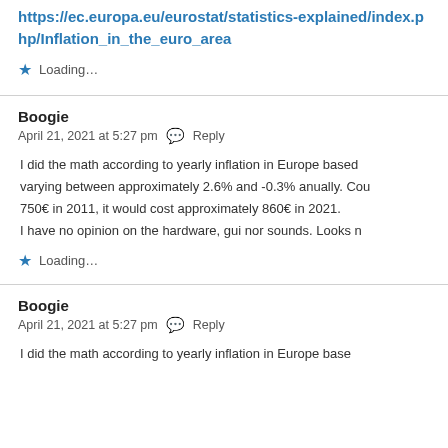https://ec.europa.eu/eurostat/statistics-explained/index.php/Inflation_in_the_euro_area
Loading...
Boogie
April 21, 2021 at 5:27 pm   Reply
I did the math according to yearly inflation in Europe based on varying between approximately 2.6% and -0.3% anually. Cou 750€ in 2011, it would cost approximately 860€ in 2021. I have no opinion on the hardware, gui nor sounds. Looks n
Loading...
Boogie
April 21, 2021 at 5:27 pm   Reply
I did the math according to yearly inflation in Europe base